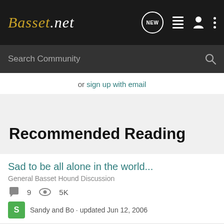Basset.net
Search Community
or sign up with email
Recommended Reading
Sad to be all alone in the world...
General Basset Hound Discussion
9  5K  Sandy and Bo · updated Jun 12, 2006
Cyberhound again!